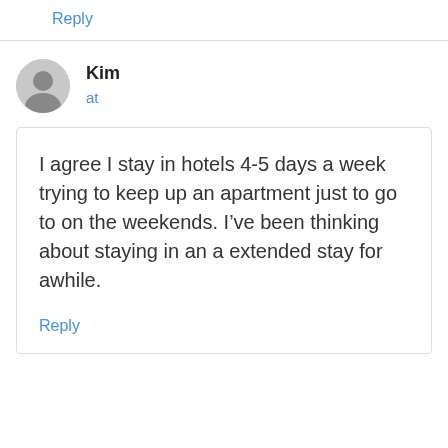Reply
Kim
at
I agree I stay in hotels 4-5 days a week trying to keep up an apartment just to go to on the weekends. I’ve been thinking about staying in an a extended stay for awhile.
Reply